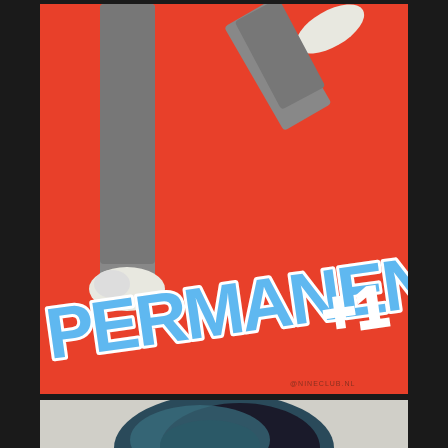[Figure (illustration): Top image: orange/red background with black and white photo of person's legs wearing grey trousers and white shoes, overlaid with large graffiti-style text reading 'PERMANENT +1' in blue with white outline]
[Figure (photo): Bottom image: partially visible, appears to show a dark rocky mountain or geological formation against a light grey/white background]